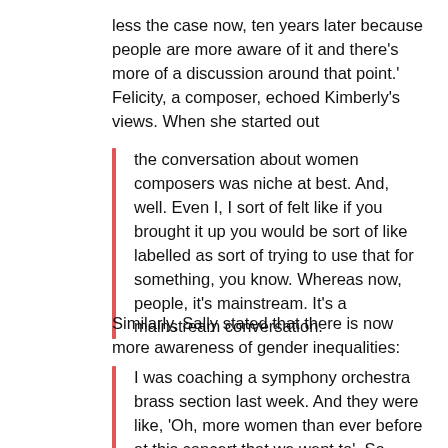less the case now, ten years later because people are more aware of it and there's more of a discussion around that point.' Felicity, a composer, echoed Kimberly's views. When she started out
the conversation about women composers was niche at best. And, well. Even I, I sort of felt like if you brought it up you would be sort of like labelled as sort of trying to use that for something, you know. Whereas now, people, it's mainstream. It's a mainstream conversation.
Similarly, Sally stated that there is now more awareness of gender inequalities:
I was coaching a symphony orchestra brass section last week. And they were like, 'Oh, more women than ever before at this concert that we went to'. So, people are obviously more aware of it. I think